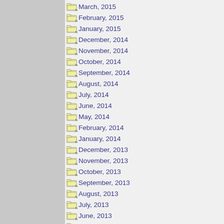March, 2015
February, 2015
January, 2015
December, 2014
November, 2014
October, 2014
September, 2014
August, 2014
July, 2014
June, 2014
May, 2014
February, 2014
January, 2014
December, 2013
November, 2013
October, 2013
September, 2013
August, 2013
July, 2013
June, 2013
May, 2013
April, 2013
March, 2013